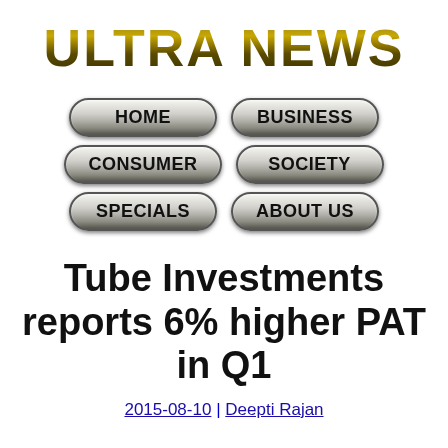ULTRA NEWS
[Figure (infographic): Navigation buttons: HOME, BUSINESS, CONSUMER, SOCIETY, SPECIALS, ABOUT US — styled as rounded pill-shaped buttons with metallic gradient]
Tube Investments reports 6% higher PAT in Q1
2015-08-10 | Deepti Rajan
[Figure (photo): Photograph of a black and yellow bicycle, partially visible at bottom of page]